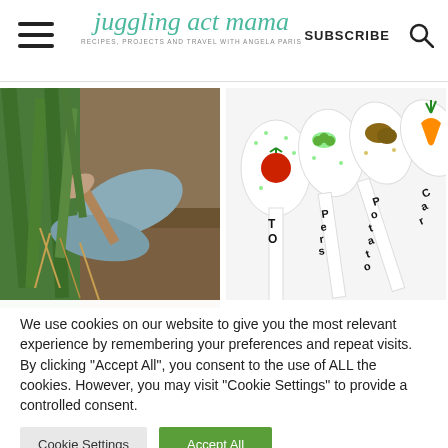juggling act mama - RECIPES, PROJECTS AND TRAVEL WITH ANGELA PARIS | SUBSCRIBE
[Figure (photo): Hands in grey gloves gardening, pulling plants from soil with a trowel]
[Figure (photo): Decorative ceramic spoons painted with vegetable names: tomato, peas, potato, carrot]
We use cookies on our website to give you the most relevant experience by remembering your preferences and repeat visits. By clicking "Accept All", you consent to the use of ALL the cookies. However, you may visit "Cookie Settings" to provide a controlled consent.
Cookie Settings | Accept All